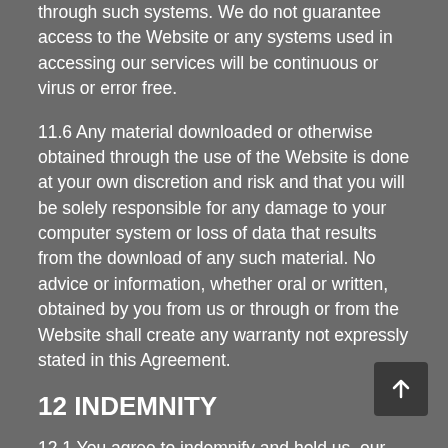through such systems. We do not guarantee access to the Website or any systems used in accessing our services will be continuous or virus or error free.
11.6 Any material downloaded or otherwise obtained through the use of the Website is done at your own discretion and risk and that you will be solely responsible for any damage to your computer system or loss of data that results from the download of any such material. No advice or information, whether oral or written, obtained by you from us or through or from the Website shall create any warranty not expressly stated in this Agreement.
12 INDEMNITY
12.1 You agree to indemnify and hold us, our parent, subsidiaries, officers, directors, shareholders and employees, harmless, including costs and legal fees, from any claim or demand made by any third party due to or arising out of (i) your access to the Website, (ii) your use of the World-Senate.com Service, (iii) the violation of this Agreement by you, or (iv) the infringement by you, or any third party using your account or user identification name or password, of any intellectual property or other right of any